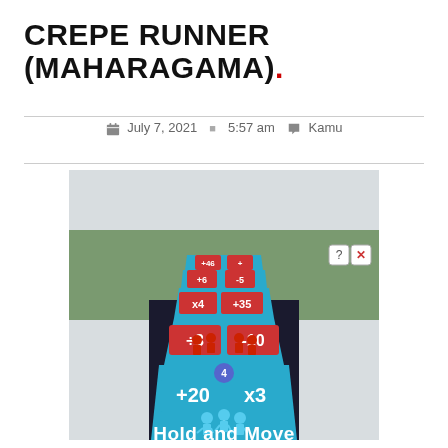CREPE RUNNER (MAHARAGAMA).
July 7, 2021  5:57 am  Kamu
[Figure (screenshot): Mobile game screenshot showing a runner game with blue track, red obstacles labeled with +3 and -10, multiplier gates showing +20 and x3, small character figures, and text 'Hold and Move' at the bottom. A '4' counter badge is visible near the player character.]